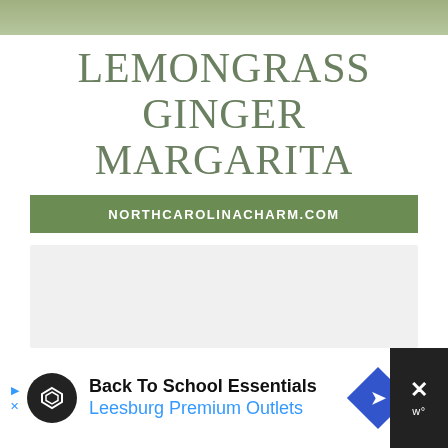[Figure (photo): Top banner image showing outdoor/food scene]
LEMONGRASS GINGER MARGARITA
NORTHCAROLINACHARM.COM
[Figure (other): Content placeholder box with three dots loading indicator]
[Figure (other): Advertisement bar: Back To School Essentials - Leesburg Premium Outlets]